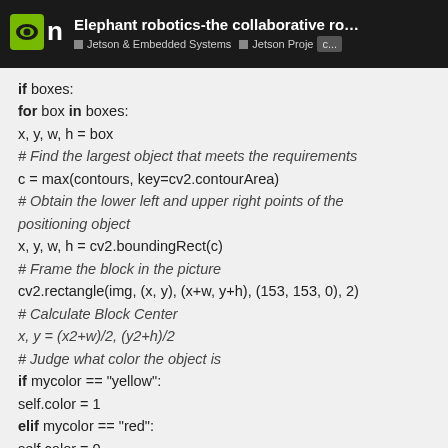Elephant robotics-the collaborative robot w... | Jetson & Embedded Systems | Jetson Project C...
if boxes:
for box in boxes:
x, y, w, h = box
# Find the largest object that meets the requirements
c = max(contours, key=cv2.contourArea)
# Obtain the lower left and upper right points of the positioning object
x, y, w, h = cv2.boundingRect(c)
# Frame the block in the picture
cv2.rectangle(img, (x, y), (x+w, y+h), (153, 153, 0), 2)
# Calculate Block Center
x, y = (x2+w)/2, (y2+h)/2
# Judge what color the object is
if mycolor == "yellow":
self.color = 1
elif mycolor == "red":
self.color = 0
# Judge whether the identification is normal
if abs(x) + abs(y) > 0: